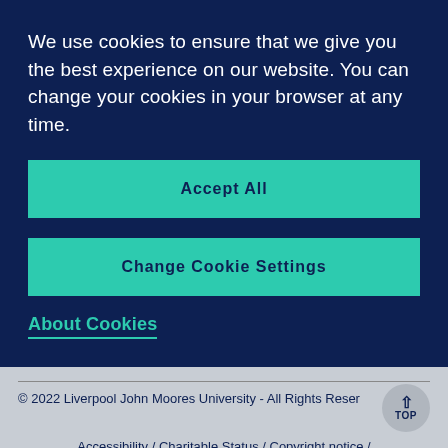We use cookies to ensure that we give you the best experience on our website. You can change your cookies in your browser at any time.
Accept All
Change Cookie Settings
About Cookies
© 2022 Liverpool John Moores University - All Rights Reserved
Accessibility / Charitable Status / Copyright notice / Disclaimer / Freedom of Information / Modern Slavery Statement / Privacy and cookies / Privacy Notices / Cookie Preferences